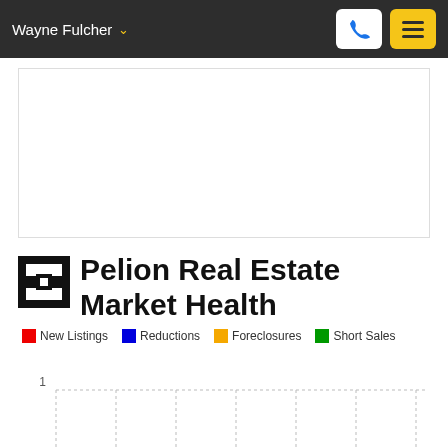Wayne Fulcher
[Figure (other): White content area placeholder box]
Pelion Real Estate Market Health
[Figure (bar-chart): Partially visible bar chart showing New Listings, Reductions, Foreclosures, Short Sales with y-axis label of 1 visible]